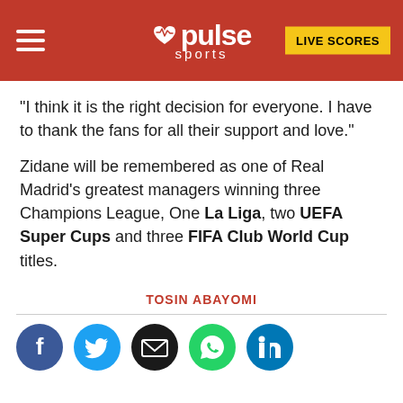Pulse Sports — LIVE SCORES
"I think it is the right decision for everyone. I have to thank the fans for all their support and love."
Zidane will be remembered as one of Real Madrid's greatest managers winning three Champions League, One La Liga, two UEFA Super Cups and three FIFA Club World Cup titles.
TOSIN ABAYOMI
[Figure (infographic): Social share icons: Facebook, Twitter, Email, WhatsApp, LinkedIn]